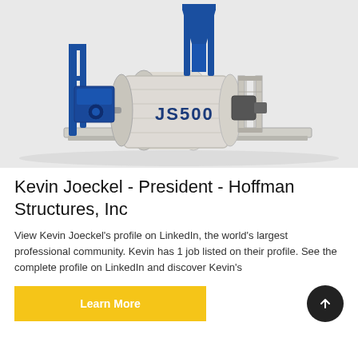[Figure (photo): Industrial concrete mixer machine labeled JS500 with blue steel frame and white drum, mounted on a platform against a light gray background.]
Kevin Joeckel - President - Hoffman Structures, Inc
View Kevin Joeckel's profile on LinkedIn, the world's largest professional community. Kevin has 1 job listed on their profile. See the complete profile on LinkedIn and discover Kevin's
Learn More